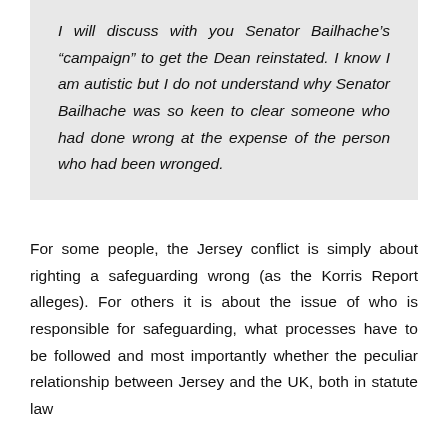I will discuss with you Senator Bailhache’s “campaign” to get the Dean reinstated. I know I am autistic but I do not understand why Senator Bailhache was so keen to clear someone who had done wrong at the expense of the person who had been wronged.
For some people, the Jersey conflict is simply about righting a safeguarding wrong (as the Korris Report alleges). For others it is about the issue of who is responsible for safeguarding, what processes have to be followed and most importantly whether the peculiar relationship between Jersey and the UK, both in statute law